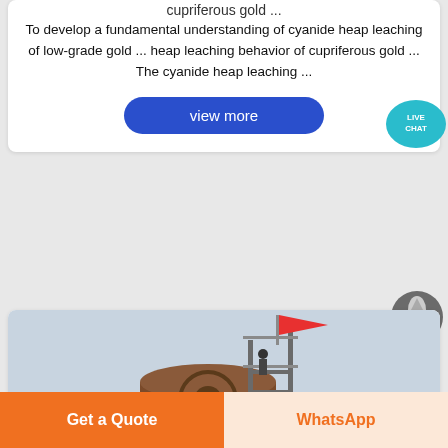cupriferous gold ...
To develop a fundamental understanding of cyanide heap leaching of low-grade gold ... heap leaching behavior of cupriferous gold ... The cyanide heap leaching ...
view more
[Figure (photo): Industrial machinery scene with scaffolding, a large drum/mill machine, workers, a red flag, and a light sky background]
Get a Quote
WhatsApp